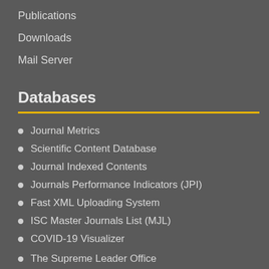Publications
Downloads
Mail Server
Databases
Journal Metrics
Scientific Content Database
Journal Indexed Contents
Journals Performance Indicators (JPI)
Fast XML Uploading System
ISC Master Journals List (MJL)
COVID-19 Visualizer
The Supreme Leader Office
Presidential Organization